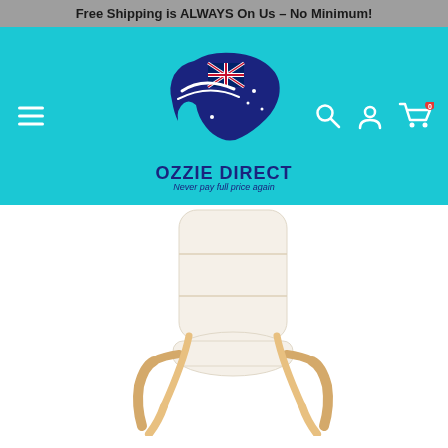Free Shipping is ALWAYS On Us – No Minimum!
[Figure (logo): Ozzie Direct logo with Australia map outline containing UK flag, text OZZIE DIRECT and tagline Never pay full price again, on teal background with hamburger menu and nav icons]
[Figure (photo): Product photo of a cream/white cushioned armchair with light wood bentwood arms and legs, similar to IKEA Poang style, on white background]